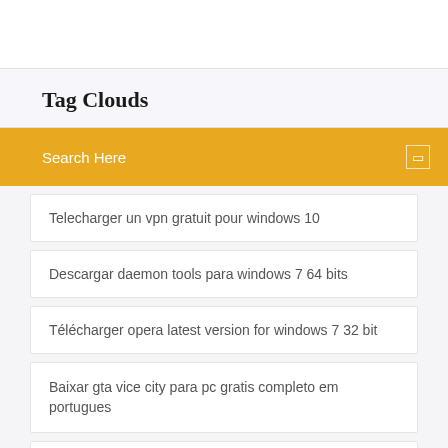Tag Clouds
Search Here
Telecharger un vpn gratuit pour windows 10
Descargar daemon tools para windows 7 64 bits
Télécharger opera latest version for windows 7 32 bit
Baixar gta vice city para pc gratis completo em portugues
Comment convertir un fichier oxps en pdf
Outlook android synchronisation